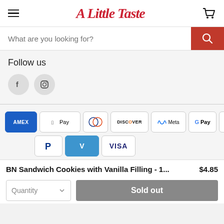A Little Taste
What are you looking for?
Follow us
[Figure (infographic): Payment method icons: AMEX, Apple Pay, Diners Club, Discover, Meta Pay, Google Pay, Mastercard, PayPal, Venmo, Visa]
BN Sandwich Cookies with Vanilla Filling - 1...  $4.85
Quantity  Sold out